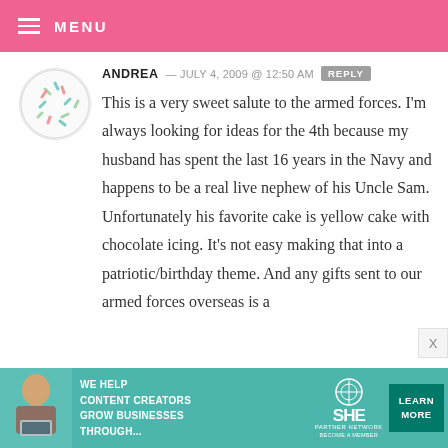MENU
ANDREA — JULY 4, 2009 @ 12:50 AM  REPLY
This is a very sweet salute to the armed forces. I'm always looking for ideas for the 4th because my husband has spent the last 16 years in the Navy and happens to be a real live nephew of his Uncle Sam. Unfortunately his favorite cake is yellow cake with chocolate icing. It's not easy making that into a patriotic/birthday theme. And any gifts sent to our armed forces overseas is a
[Figure (infographic): Advertisement banner: teal/turquoise background, woman with laptop photo, text 'WE HELP CONTENT CREATORS GROW BUSINESSES THROUGH...' with SHE PARTNER NETWORK logo and LEARN MORE button]